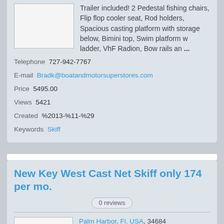[Figure (photo): Placeholder image box for boat listing]
Trailer included! 2 Pedestal fishing chairs, Flip flop cooler seat, Rod holders, Spacious casting platform with storage below, Bimini top, Swim platform w ladder, VhF Radion, Bow rails an ...
Telephone  727-942-7767
E-mail  Bradk@boatandmotorsuperstores.com
Price  5495.00
Views  5421
Created  %2013-%11-%29
Keywords  Skiff
New Key West Cast Net Skiff only 174 per mo.
0 reviews
[Figure (photo): Placeholder image box for second boat listing]
Palm Harbor, Fl, USA, 34684
This New Boat is only $174 per